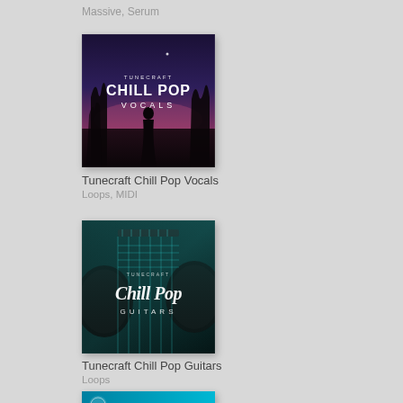Massive, Serum
[Figure (illustration): Tunecraft Chill Pop Vocals album art - dark twilight silhouette of a person with text TUNECRAFT CHILL POP VOCALS]
Tunecraft Chill Pop Vocals
Loops, MIDI
[Figure (illustration): Tunecraft Chill Pop Guitars album art - electric guitars with teal lighting and script text Chill Pop Guitars]
Tunecraft Chill Pop Guitars
Loops
[Figure (illustration): Third album art partially visible at bottom - teal/blue color scheme with Tunecraft logo]